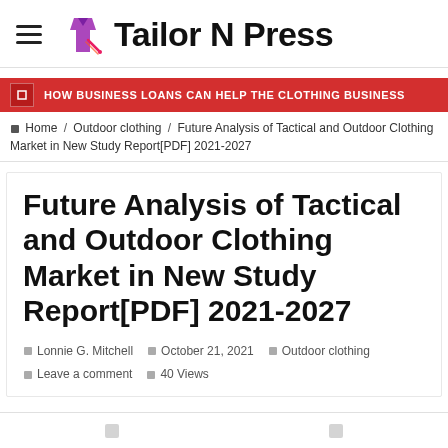Tailor N Press
HOW BUSINESS LOANS CAN HELP THE CLOTHING BUSINESS
Home / Outdoor clothing / Future Analysis of Tactical and Outdoor Clothing Market in New Study Report[PDF] 2021-2027
Future Analysis of Tactical and Outdoor Clothing Market in New Study Report[PDF] 2021-2027
Lonnie G. Mitchell   October 21, 2021   Outdoor clothing   Leave a comment   40 Views